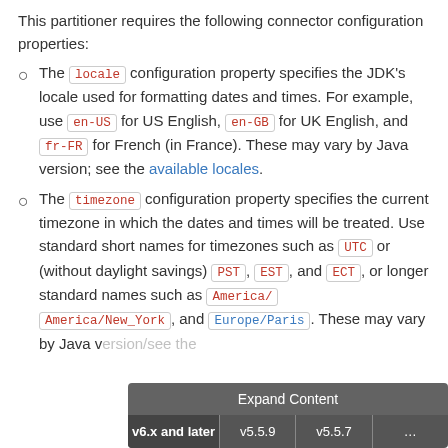This partitioner requires the following connector configuration properties:
The `locale` configuration property specifies the JDK's locale used for formatting dates and times. For example, use `en-US` for US English, `en-GB` for UK English, and `fr-FR` for French (in France). These may vary by Java version; see the available locales.
The `timezone` configuration property specifies the current timezone in which the dates and times will be treated. Use standard short names for timezones such as `UTC` or (without daylight savings) `PST`, `EST`, and `ECT`, or longer standard names such as `America/...` `America/New_York`, and `Europe/Paris`. These may vary by Java ...